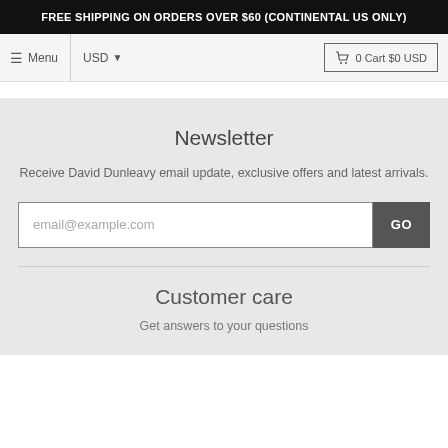FREE SHIPPING ON ORDERS OVER $60 (CONTINENTAL US ONLY)
≡ Menu  USD ▾  🛒 0 Cart $0 USD
Newsletter
Receive David Dunleavy email update, exclusive offers and latest arrivals.
email@example.com
Customer care
Get answers to your questions